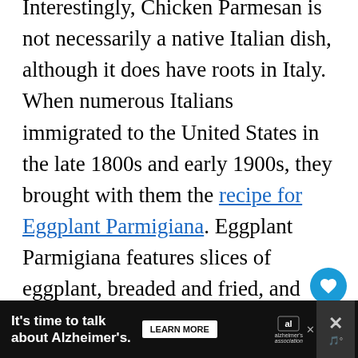Interestingly, Chicken Parmesan is not necessarily a native Italian dish, although it does have roots in Italy. When numerous Italians immigrated to the United States in the late 1800s and early 1900s, they brought with them the recipe for Eggplant Parmigiana. Eggplant Parmigiana features slices of eggplant, breaded and fried, and then topped with a tomato sauce and melted cheese. At some point, Italians in the United States adapted this recipe to use chicken, and Chicken Parmigiana, or Chicken Parmesan was born!
[Figure (other): Floating action buttons: a blue heart/like button and a grey share button on the right side of the page]
It's time to talk about Alzheimer's. LEARN MORE [Alzheimer's Association logo] [close buttons]